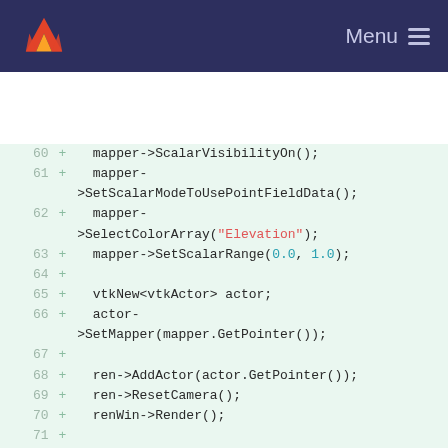GitLab — Menu
[Figure (screenshot): Code diff view showing lines 60-73 of a C++ source file with added lines (marked +) including VTK mapper and actor setup code]